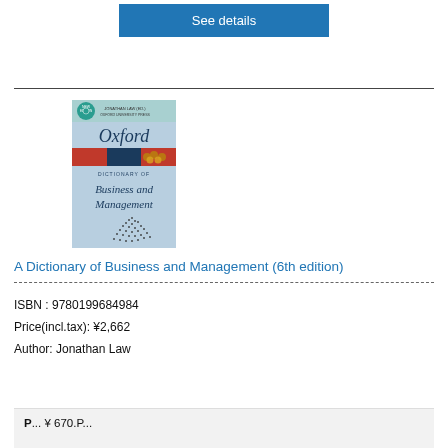See details
[Figure (illustration): Book cover of Oxford Dictionary of Business and Management, showing the Oxford branding with red and blue design elements and a cheetah made of small dots]
A Dictionary of Business and Management (6th edition)
ISBN : 9780199684984
Price(incl.tax): ¥2,662
Author: Jonathan Law
P... ¥ 670.P...